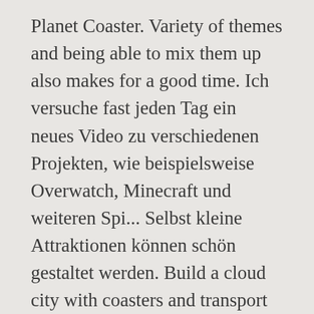Planet Coaster. Variety of themes and being able to mix them up also makes for a good time. Ich versuche fast jeden Tag ein neues Video zu verschiedenen Projekten, wie beispielsweise Overwatch, Minecraft und weiteren Spi... Selbst kleine Attraktionen können schön gestaltet werden. Build a cloud city with coasters and transport rides doing between the floating islands. Plan your roller coaster and park builds using our extensive decor lists. With such healthy Steam Workshop support, user-created content is an important part of the Planet Coaster experience. From Rail Mountain Park comes a nice Bavarian style, 12-room, square hotel block building that has a